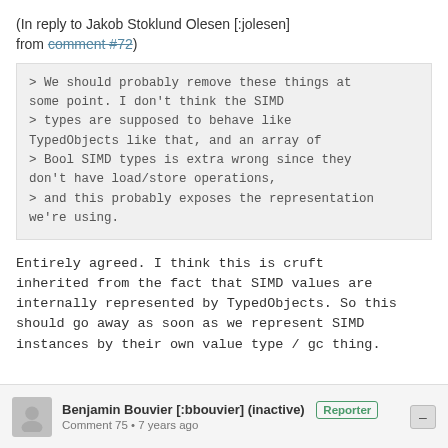(In reply to Jakob Stoklund Olesen [:jolesen] from comment #72)
> We should probably remove these things at some point. I don't think the SIMD
> types are supposed to behave like TypedObjects like that, and an array of
> Bool SIMD types is extra wrong since they don't have load/store operations,
> and this probably exposes the representation we're using.
Entirely agreed. I think this is cruft inherited from the fact that SIMD values are internally represented by TypedObjects. So this should go away as soon as we represent SIMD instances by their own value type / gc thing.
Benjamin Bouvier [:bbouvier] (inactive)  Reporter
Comment 75 • 7 years ago